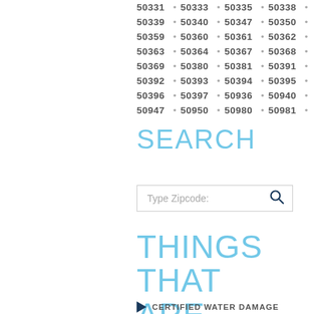50331 • 50333 • 50335 • 50338 •
50339 • 50340 • 50347 • 50350 •
50359 • 50360 • 50361 • 50362 •
50363 • 50364 • 50367 • 50368 •
50369 • 50380 • 50381 • 50391 •
50392 • 50393 • 50394 • 50395 •
50396 • 50397 • 50936 • 50940 •
50947 • 50950 • 50980 • 50981 •
SEARCH
Type Zipcode:
THINGS THAT ARE COVERED
CERTIFIED WATER DAMAGE